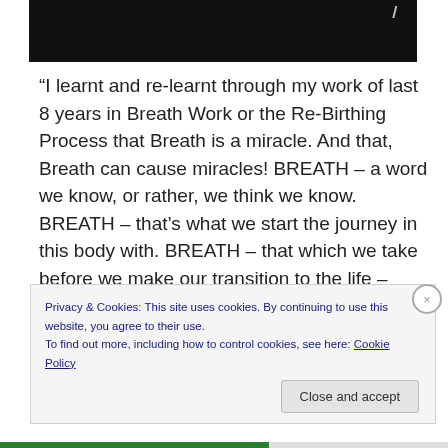[Figure (photo): Dark/black image strip with a faint cursor or figure icon visible in the upper right area]
“I learnt and re-learnt through my work of last 8 years in Breath Work or the Re-Birthing Process that Breath is a miracle. And that, Breath can cause miracles! BREATH – a word we know, or rather, we think we know. BREATH – that’s what we start the journey in this body with. BREATH – that which we take before we make our transition to the life – between- lives state. BREATH – that changes with any and every emotion we
Privacy & Cookies: This site uses cookies. By continuing to use this website, you agree to their use.
To find out more, including how to control cookies, see here: Cookie Policy
Close and accept